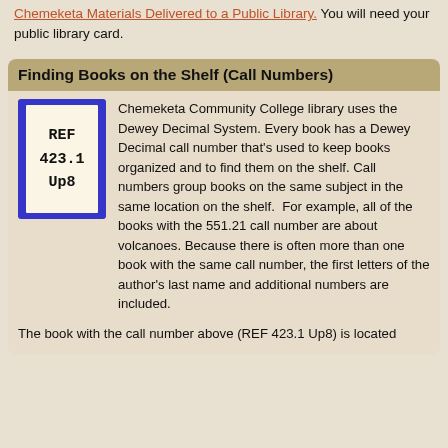Chemeketa Materials Delivered to a Public Library. You will need your public library card.
Finding Books on the Shelf (Call Numbers)
[Figure (illustration): A blue-bordered book call number label showing REF 423.1 Up8 on a cream/off-white background]
Chemeketa Community College library uses the Dewey Decimal System. Every book has a Dewey Decimal call number that's used to keep books organized and to find them on the shelf. Call numbers group books on the same subject in the same location on the shelf. For example, all of the books with the 551.21 call number are about volcanoes. Because there is often more than one book with the same call number, the first letters of the author's last name and additional numbers are included.
The book with the call number above (REF 423.1 Up8) is located